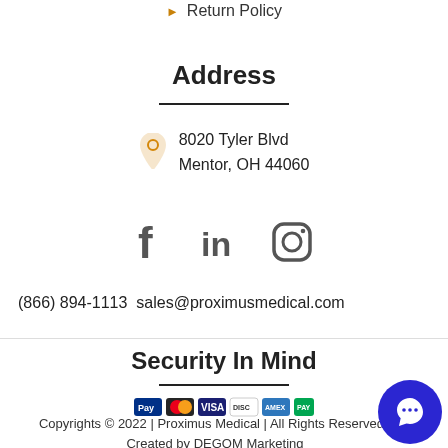Return Policy
Address
8020 Tyler Blvd
Mentor, OH 44060
[Figure (other): Social media icons: Facebook, LinkedIn, Instagram]
(866) 894-1113  sales@proximusmedical.com
Security In Mind
[Figure (other): Payment method icons: PayPal, Mastercard, Visa, Discover, American Express, and others]
Copyrights © 2022 | Proximus Medical | All Rights Reserved | Created by DEGOM Marketing